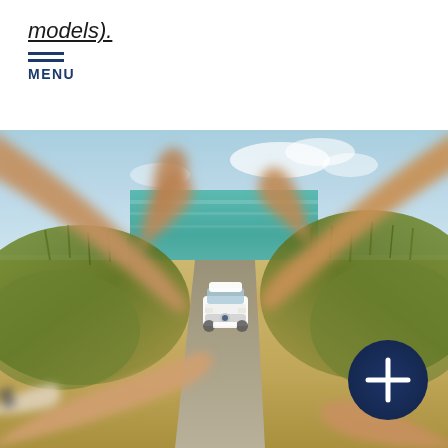models).
MENU
[Figure (photo): A pair of hands forming a heart shape, framing a white Volkswagen SUV driving on a coastal path toward the camera. Behind the car is a turquoise sea, sandy dunes with grass on both sides, and a blue sky. A dark navy circle button with a white plus sign (+) is overlaid in the lower right corner of the photo.]